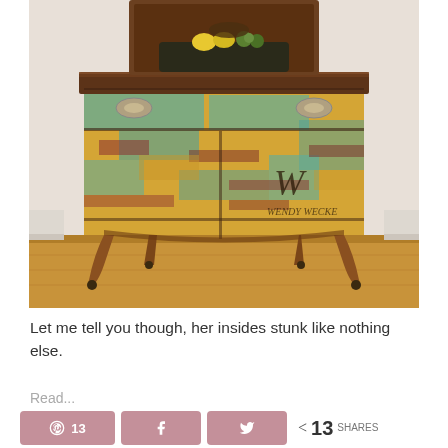[Figure (photo): Antique dresser/sideboard with distressed multicolor paint finish in teal, yellow, rust/red tones, with ornate hardware, dark wood top, and a decorative tray with lemons and greenery on top. Signature 'Wendy Wecke' on the piece. Set on wood floor against light wall.]
Let me tell you though, her insides stunk like nothing else.
Read...
[Figure (infographic): Social share bar with Pinterest (13), Facebook, and Twitter share buttons, and a share count showing 13 SHARES]